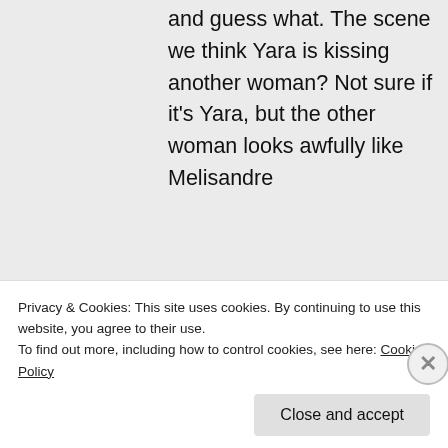and guess what. The scene we think Yara is kissing another woman? Not sure if it's Yara, but the other woman looks awfully like Melisandre
★ Liked by 1 person
Log in to Reply
Privacy & Cookies: This site uses cookies. By continuing to use this website, you agree to their use.
To find out more, including how to control cookies, see here: Cookie Policy
Close and accept